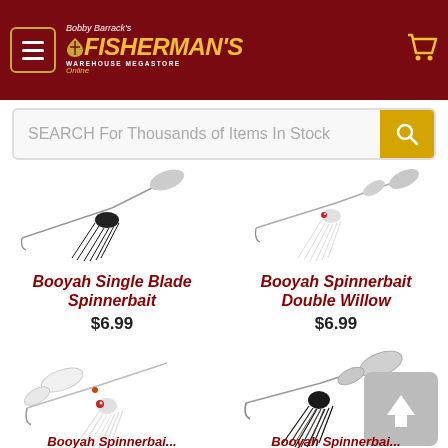[Figure (screenshot): Bobby Barrack's Fisherman's Warehouse Megastore Online logo on dark red header with menu button and cart icon]
SEARCH For Thousands of Items In Stock
[Figure (photo): Booyah Single Blade Spinnerbait fishing lure product photo]
Booyah Single Blade Spinnerbait
$6.99
[Figure (photo): Booyah Spinnerbait Double Willow fishing lure product photo]
Booyah Spinnerbait Double Willow
$6.99
[Figure (photo): White double willow spinnerbait lure product photo (bottom left)]
[Figure (photo): Black/dark double blade spinnerbait lure product photo (bottom right)]